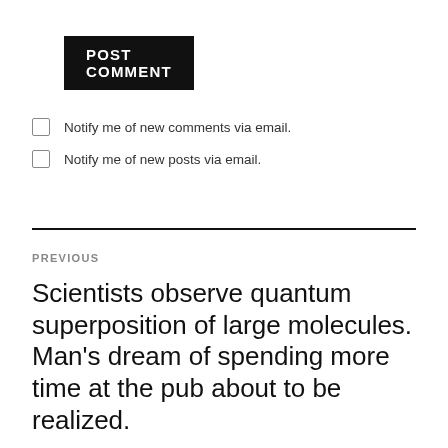POST COMMENT
Notify me of new comments via email.
Notify me of new posts via email.
PREVIOUS
Scientists observe quantum superposition of large molecules. Man's dream of spending more time at the pub about to be realized.